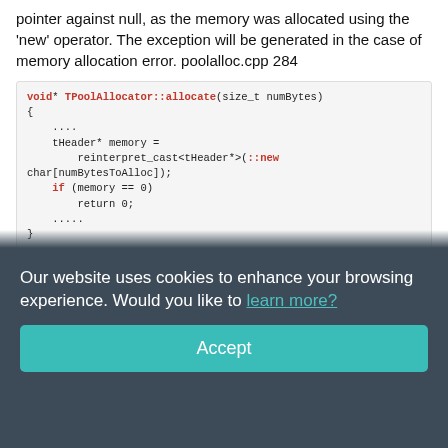pointer against null, as the memory was allocated using the 'new' operator. The exception will be generated in the case of memory allocation error. poolalloc.cpp 284
[Figure (screenshot): Code snippet showing void* TPoolAllocator::allocate(size_t numBytes) function with tHeader* memory = reinterpret_cast<tHeader*>(::new char[numBytesToAlloc]); if (memory == 0) return 0;]
A pointless check. The new operator will generate an exception std::bad_alloc, if memory is not allocated.
Similar errors can be found in some other places:
V668 CWE-571 There is no sense in testing the 'block' pointer against
Our website uses cookies to enhance your browsing experience. Would you like to learn more?
Accept